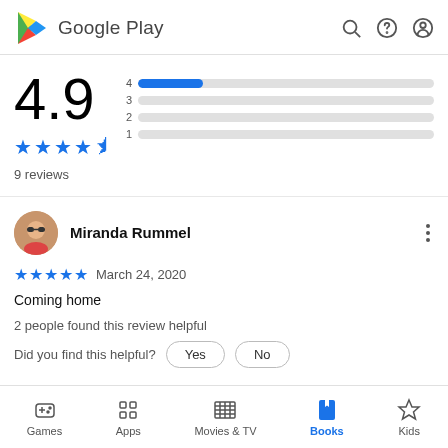Google Play
[Figure (infographic): Rating overview: 4.9 stars with bar chart showing distribution of ratings 1-4, with rating 4 having the highest bar (blue), others minimal gray]
9 reviews
Miranda Rummel
★★★★★ March 24, 2020
Coming home
2 people found this review helpful
Did you find this helpful?  Yes  No
Games  Apps  Movies & TV  Books  Kids